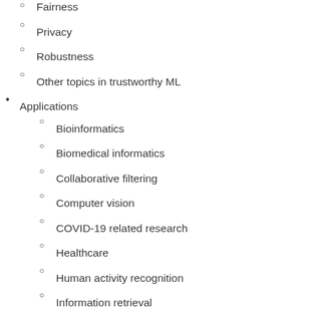Fairness (partial, top cut off)
Privacy
Robustness
Other topics in trustworthy ML
Applications
Bioinformatics
Biomedical informatics
Collaborative filtering
Computer vision
COVID-19 related research
Healthcare
Human activity recognition
Information retrieval
Natural language processing
Social networks